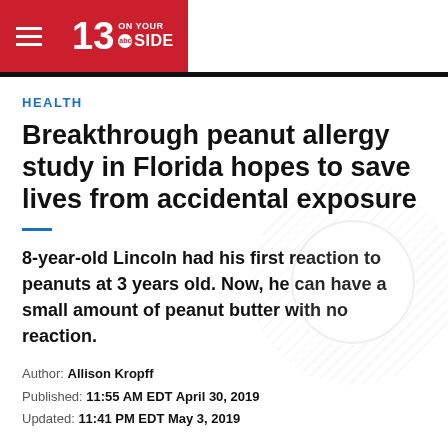13 ON YOUR SIDE abc
HEALTH
Breakthrough peanut allergy study in Florida hopes to save lives from accidental exposure
8-year-old Lincoln had his first reaction to peanuts at 3 years old. Now, he can have a small amount of peanut butter with no reaction.
Author: Allison Kropff
Published: 11:55 AM EDT April 30, 2019
Updated: 11:41 PM EDT May 3, 2019
TAMPA, Fla. — You really can't go anywhere without seeing